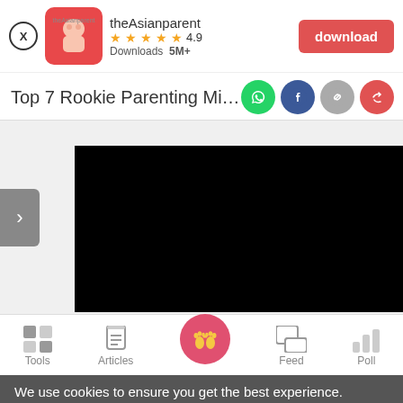[Figure (screenshot): App download banner for theAsianparent app showing app icon, 4.9 star rating, 5M+ downloads, and a red download button]
Top 7 Rookie Parenting Mistakes All N
[Figure (screenshot): Black video/image content area with a grey arrow navigation button on the left side]
[Figure (screenshot): Bottom navigation bar with Tools, Articles, Home (pink circle with baby feet), Feed, and Poll icons]
We use cookies to ensure you get the best experience.
Learn More   Ok, Got it